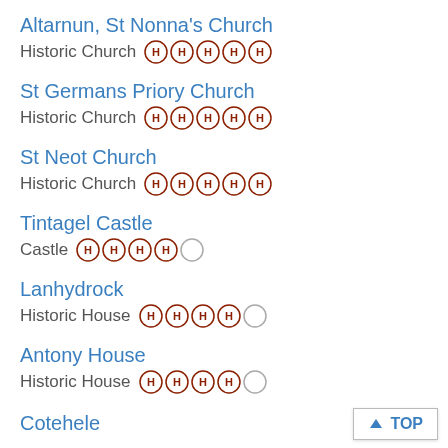Altarnun, St Nonna's Church
Historic Church  HHHHH
St Germans Priory Church
Historic Church  HHHHH
St Neot Church
Historic Church  HHHHH
Tintagel Castle
Castle  HHHH○
Lanhydrock
Historic House  HHHH○
Antony House
Historic House  HHHH○
Cotehele